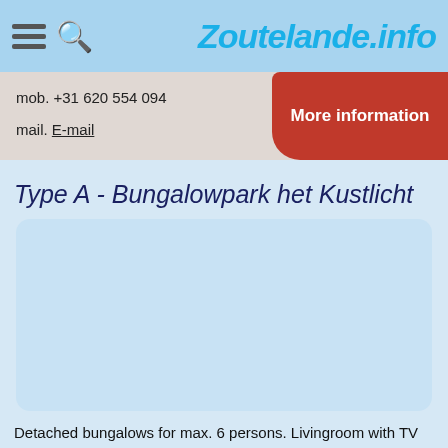Zoutelande.info
mob. +31 620 554 094
mail. E-mail
More information
Type A - Bungalowpark het Kustlicht
[Figure (photo): Photo of bungalow at Bungalowpark het Kustlicht (image placeholder, light blue)]
Detached bungalows for max. 6 persons. Livingroom with TV and a gas-fireplace. Open kitchencorner. 3 Bedrooms: 2 with a double